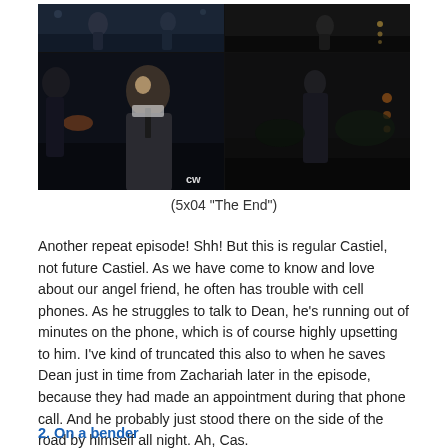[Figure (screenshot): Four-panel screenshot collage from Supernatural TV show episode 5x04 'The End', showing scenes with Castiel and Dean at night. CW network logo visible in corners.]
(5x04 "The End")
Another repeat episode! Shh! But this is regular Castiel, not future Castiel. As we have come to know and love about our angel friend, he often has trouble with cell phones. As he struggles to talk to Dean, he's running out of minutes on the phone, which is of course highly upsetting to him. I've kind of truncated this also to when he saves Dean just in time from Zachariah later in the episode, because they had made an appointment during that phone call. And he probably just stood there on the side of the road by himself all night. Ah, Cas.
2. On a bender